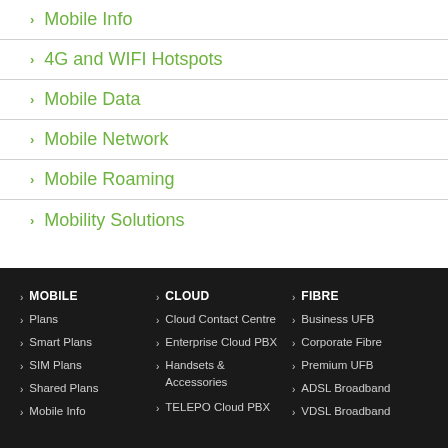Mobile Info
4G and WIFI Hotspots
Mobile Data
Mobile Network
Mobile Roaming
Mobility Solutions
MOBILE
Plans
Smart Plans
SIM Plans
Shared Plans
Mobile Info
CLOUD
Cloud Contact Centre
Enterprise Cloud PBX
Handsets & Accessories
TELEPO Cloud PBX
FIBRE
Business UFB
Corporate Fibre
Premium UFB
ADSL Broadband
VDSL Broadband